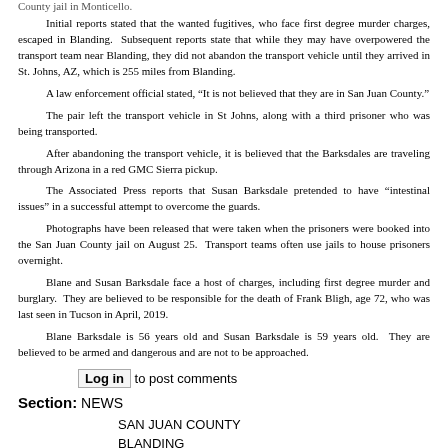County jail in Monticello.
Initial reports stated that the wanted fugitives, who face first degree murder charges, escaped in Blanding. Subsequent reports state that while they may have overpowered the transport team near Blanding, they did not abandon the transport vehicle until they arrived in St. Johns, AZ, which is 255 miles from Blanding.
A law enforcement official stated, “It is not believed that they are in San Juan County.”
The pair left the transport vehicle in St Johns, along with a third prisoner who was being transported.
After abandoning the transport vehicle, it is believed that the Barksdales are traveling through Arizona in a red GMC Sierra pickup.
The Associated Press reports that Susan Barksdale pretended to have “intestinal issues” in a successful attempt to overcome the guards.
Photographs have been released that were taken when the prisoners were booked into the San Juan County jail on August 25. Transport teams often use jails to house prisoners overnight.
Blane and Susan Barksdale face a host of charges, including first degree murder and burglary. They are believed to be responsible for the death of Frank Bligh, age 72, who was last seen in Tucson in April, 2019.
Blane Barksdale is 56 years old and Susan Barksdale is 59 years old. They are believed to be armed and dangerous and are not to be approached.
Log in to post comments
Section: NEWS
SAN JUAN COUNTY
BLANDING